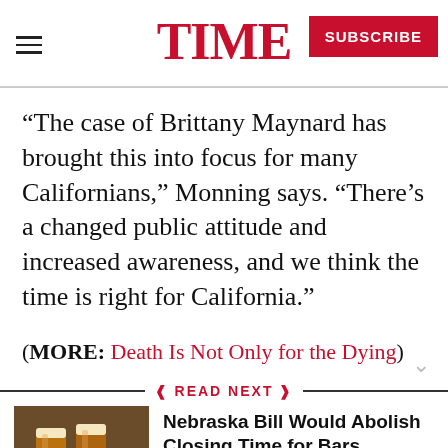TIME | SUBSCRIBE
“The case of Brittany Maynard has brought this into focus for many Californians,” Monning says. “There’s a changed public attitude and increased awareness, and we think the time is right for California.”
(MORE: Death Is Not Only for the Dying)
READ NEXT
Nebraska Bill Would Abolish Closing Time for Bars